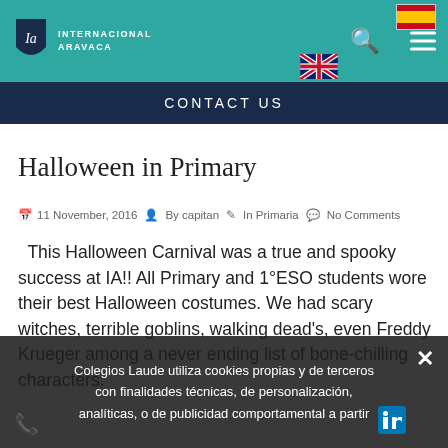Internacional Aravaca — CONTACT US
Halloween in Primary
11 November, 2016  By capitan  In Primaria  No Comments
This Halloween Carnival was a true and spooky success at IA!! All Primary and 1°ESO students wore their best Halloween costumes. We had scary witches, terrible goblins, walking dead's, even Freddy Krueger among a never ending list of bone-chilling characters.
Colegios Laude utiliza cookies propias y de terceros con finalidades técnicas, de personalización, analíticas, o de publicidad comportamental a partir…